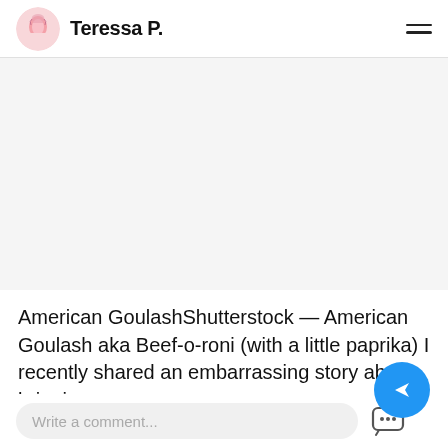Teressa P.
[Figure (photo): Large food image placeholder (American Goulash / Beef-o-roni) — blank grey area in screenshot]
American GoulashShutterstock — American Goulash aka Beef-o-roni (with a little paprika) I recently shared an embarrassing story about bringing y